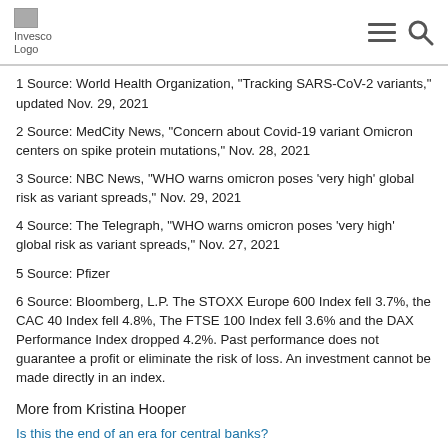Invesco Logo
1 Source: World Health Organization, "Tracking SARS-CoV-2 variants," updated Nov. 29, 2021
2 Source: MedCity News, "Concern about Covid-19 variant Omicron centers on spike protein mutations," Nov. 28, 2021
3 Source: NBC News, "WHO warns omicron poses 'very high' global risk as variant spreads," Nov. 29, 2021
4 Source: The Telegraph, "WHO warns omicron poses 'very high' global risk as variant spreads," Nov. 27, 2021
5 Source: Pfizer
6 Source: Bloomberg, L.P. The STOXX Europe 600 Index fell 3.7%, the CAC 40 Index fell 4.8%, The FTSE 100 Index fell 3.6% and the DAX Performance Index dropped 4.2%. Past performance does not guarantee a profit or eliminate the risk of loss. An investment cannot be made directly in an index.
More from Kristina Hooper
Is this the end of an era for central banks?